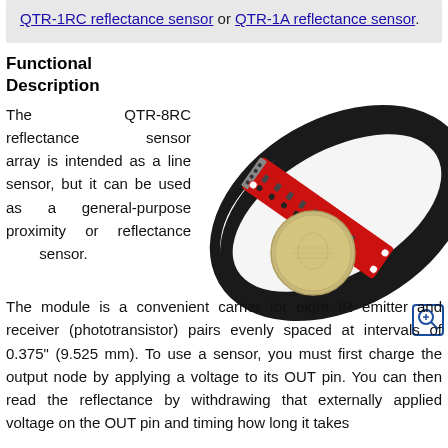QTR-1RC reflectance sensor or QTR-1A reflectance sensor.
Functional Description
The QTR-8RC reflectance sensor array is intended as a line sensor, but it can be used as a general-purpose proximity or reflectance sensor.
[Figure (photo): Photo of QTR-8RC reflectance sensor array (red PCB) crossed over a black curved strip, next to a coin for size reference. A zoom icon is in the bottom right.]
The module is a convenient carrier for eight IR emitter and receiver (phototransistor) pairs evenly spaced at intervals of 0.375" (9.525 mm). To use a sensor, you must first charge the output node by applying a voltage to its OUT pin. You can then read the reflectance by withdrawing that externally applied voltage on the OUT pin and timing how long it takes